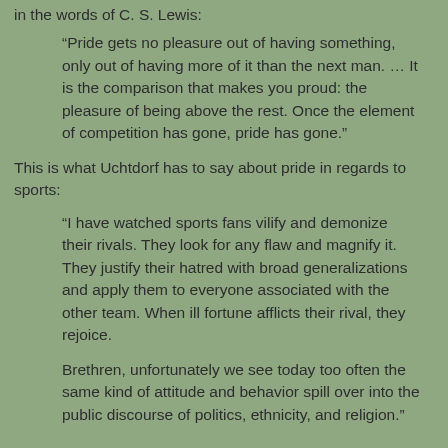in the words of C. S. Lewis:
“Pride gets no pleasure out of having something, only out of having more of it than the next man. … It is the comparison that makes you proud: the pleasure of being above the rest. Once the element of competition has gone, pride has gone.”
This is what Uchtdorf has to say about pride in regards to sports:
“I have watched sports fans vilify and demonize their rivals. They look for any flaw and magnify it. They justify their hatred with broad generalizations and apply them to everyone associated with the other team. When ill fortune afflicts their rival, they rejoice.
Brethren, unfortunately we see today too often the same kind of attitude and behavior spill over into the public discourse of politics, ethnicity, and religion.”